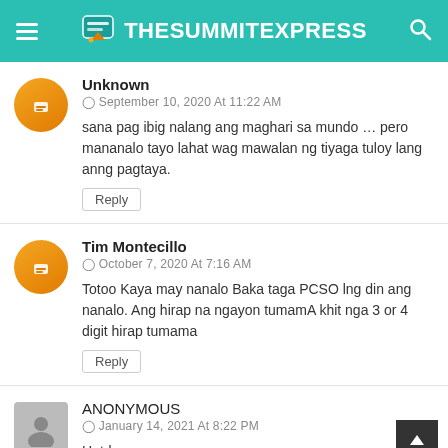TheSummitExpress
Unknown
September 10, 2020 At 11:22 AM
sana pag ibig nalang ang maghari sa mundo … pero mananalo tayo lahat wag mawalan ng tiyaga tuloy lang anng pagtaya.
Reply
Tim Montecillo
October 7, 2020 At 7:16 AM
Totoo Kaya may nanalo Baka taga PCSO lng din ang nanalo. Ang hirap na ngayon tumamA khit nga 3 or 4 digit hirap tumama
Reply
ANONYMOUS
January 14, 2021 At 8:22 PM
Hatdog